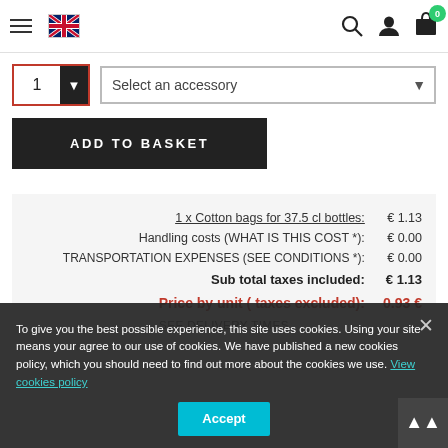Navigation bar with hamburger menu, UK flag, search icon, user icon, cart icon with badge 0
1  Select an accessory ▾
ADD TO BASKET
| Item | Price |
| --- | --- |
| 1 x Cotton bags for 37.5 cl bottles: | € 1.13 |
| Handling costs (WHAT IS THIS COST *): | € 0.00 |
| TRANSPORTATION EXPENSES (SEE CONDITIONS *): | € 0.00 |
| Sub total taxes included: | € 1.13 |
| Price by unit ( taxes excluded): | 0.93 € |
| SEE DELIVERY TIMES |  |
To give you the best possible experience, this site uses cookies. Using your site means your agree to our use of cookies. We have published a new cookies policy, which you should need to find out more about the cookies we use. View cookies policy   Accept